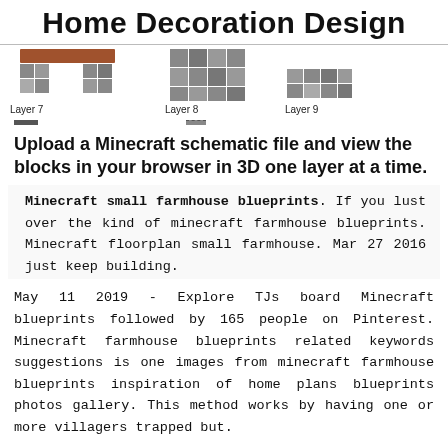Home Decoration Design
[Figure (screenshot): Three Minecraft layer blueprint images labeled Layer 7, Layer 8, and Layer 9 showing schematic grid views of building layers.]
Upload a Minecraft schematic file and view the blocks in your browser in 3D one layer at a time.
Minecraft small farmhouse blueprints. If you lust over the kind of minecraft farmhouse blueprints. Minecraft floorplan small farmhouse. Mar 27 2016 just keep building.
May 11 2019 - Explore TJs board Minecraft blueprints followed by 165 people on Pinterest. Minecraft farmhouse blueprints related keywords suggestions is one images from minecraft farmhouse blueprints inspiration of home plans blueprints photos gallery. This method works by having one or more villagers trapped but.
Minecraft underwater survival house is the best among